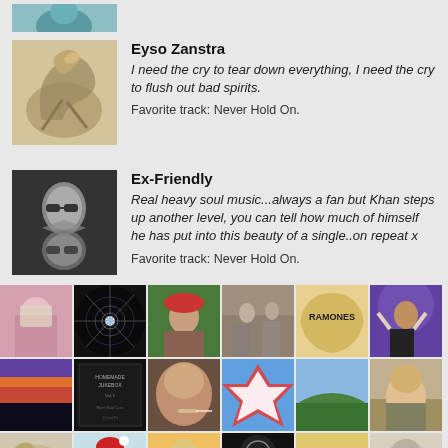[Figure (photo): Partial avatar image at top, cropped]
Eyso Zanstra
I need the cry to tear down everything, I need the cry to flush out bad spirits.
Favorite track: Never Hold On.
Ex-Friendly
Real heavy soul music...always a fan but Khan steps up another level, you can tell how much of himself he has put into this beauty of a single..on repeat x
Favorite track: Never Hold On.
[Figure (photo): Grid of 18 user avatar/profile photos in 3 rows of 6]